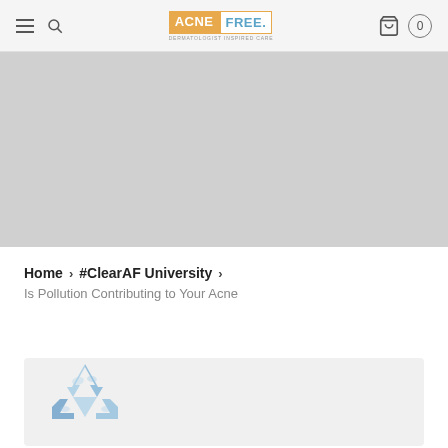AcneFree. — Dermatologist Inspired Care
[Figure (photo): Large grey placeholder hero image banner]
Home > #ClearAF University > Is Pollution Contributing to Your Acne
[Figure (illustration): Recycling symbol icon in blue watercolor style on a light grey card background]